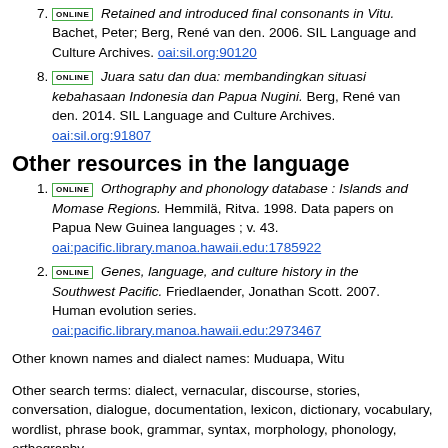7. [ONLINE] Retained and introduced final consonants in Vitu. Bachet, Peter; Berg, René van den. 2006. SIL Language and Culture Archives. oai:sil.org:90120
8. [ONLINE] Juara satu dan dua: membandingkan situasi kebahasaan Indonesia dan Papua Nugini. Berg, René van den. 2014. SIL Language and Culture Archives. oai:sil.org:91807
Other resources in the language
1. [ONLINE] Orthography and phonology database : Islands and Momase Regions. Hemmilä, Ritva. 1998. Data papers on Papua New Guinea languages ; v. 43. oai:pacific.library.manoa.hawaii.edu:1785922
2. [ONLINE] Genes, language, and culture history in the Southwest Pacific. Friedlaender, Jonathan Scott. 2007. Human evolution series. oai:pacific.library.manoa.hawaii.edu:2973467
Other known names and dialect names: Muduapa, Witu
Other search terms: dialect, vernacular, discourse, stories, conversation, dialogue, documentation, lexicon, dictionary, vocabulary, wordlist, phrase book, grammar, syntax, morphology, phonology, orthography